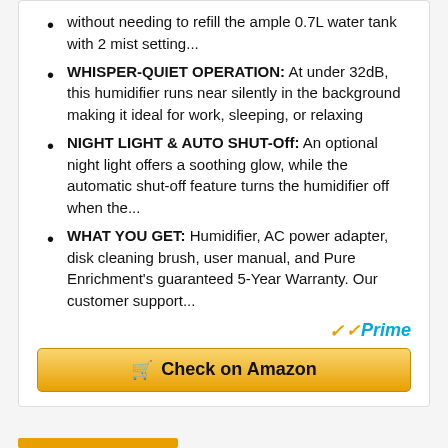without needing to refill the ample 0.7L water tank with 2 mist setting...
WHISPER-QUIET OPERATION: At under 32dB, this humidifier runs near silently in the background making it ideal for work, sleeping, or relaxing
NIGHT LIGHT & AUTO SHUT-Off: An optional night light offers a soothing glow, while the automatic shut-off feature turns the humidifier off when the...
WHAT YOU GET: Humidifier, AC power adapter, disk cleaning brush, user manual, and Pure Enrichment's guaranteed 5-Year Warranty. Our customer support...
[Figure (logo): Amazon Prime logo with checkmark and 'Prime' text in blue italic]
Check on Amazon (button with shopping cart icon)